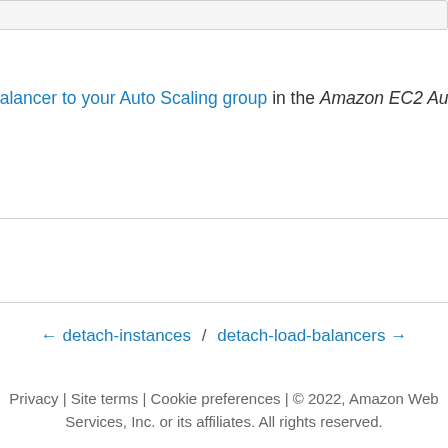balancer to your Auto Scaling group in the Amazon EC2 Auto
← detach-instances / detach-load-balancers →
Privacy | Site terms | Cookie preferences | © 2022, Amazon Web Services, Inc. or its affiliates. All rights reserved.